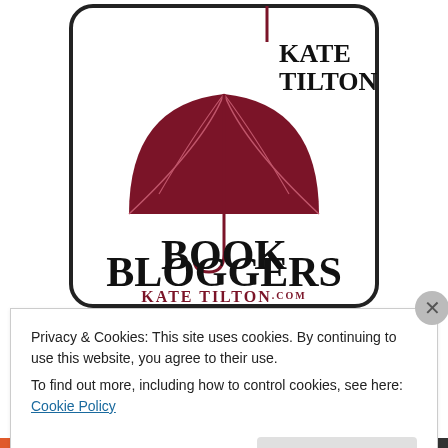[Figure (logo): Kate Tilton's Book Bloggers logo — dark red umbrella on white rounded square background with text 'KATE TILTON'S' at top right and 'BOOK BLOGGERS' large below, 'KATE TILTON.COM' in dark red at bottom]
Privacy & Cookies: This site uses cookies. By continuing to use this website, you agree to their use.
To find out more, including how to control cookies, see here: Cookie Policy
Close and accept